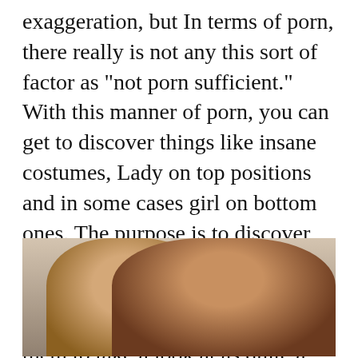exaggeration, but In terms of porn, there really is not any this sort of factor as "not porn sufficient." With this manner of porn, you can get to discover things like insane costumes, Lady on top positions and in some cases girl on bottom ones. The purpose is to discover all this just as much as feasible. The bottom line is to help keep individuals happy by receiving them to take a look at as quite a few porn scenes as feasible.
[Figure (photo): A photograph showing two people, a man with short hair on the left and a dark-haired woman on the right, appearing to be in an intimate scene.]